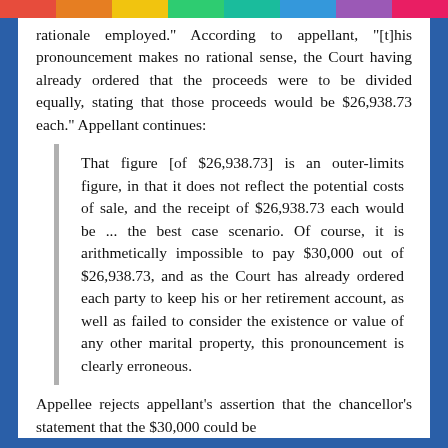rationale employed." According to appellant, "[t]his pronouncement makes no rational sense, the Court having already ordered that the proceeds were to be divided equally, stating that those proceeds would be $26,938.73 each." Appellant continues:
That figure [of $26,938.73] is an outer-limits figure, in that it does not reflect the potential costs of sale, and the receipt of $26,938.73 each would be ... the best case scenario. Of course, it is arithmetically impossible to pay $30,000 out of $26,938.73, and as the Court has already ordered each party to keep his or her retirement account, as well as failed to consider the existence or value of any other marital property, this pronouncement is clearly erroneous.
Appellee rejects appellant's assertion that the chancellor's statement that the $30,000 could be